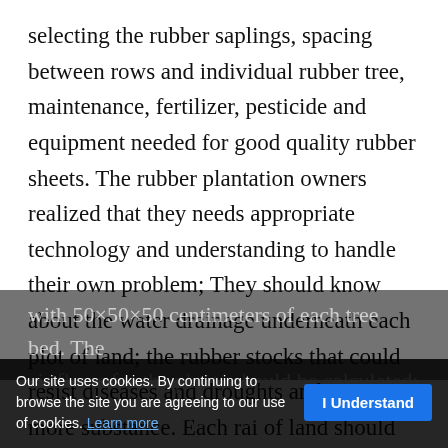selecting the rubber saplings, spacing between rows and individual rubber tree, maintenance, fertilizer, pesticide and equipment needed for good quality rubber sheets. The rubber plantation owners realized that they needs appropriate technology and understanding to handle their own problem; They should know about the water drainage underneath each plot of land; the rubber stocks that could resist diseases and droughts and give more substance. Each rai of land should grow 76 rubber trees
with 50×50×50 centimeters of each tree bed. The air flows for the plants should be calculated; chemical fertilizer, p... equip... sinning and rubber sheets making should also be...
Our site uses cookies. By continuing to browse the site you are agreeing to our use of cookies. Learn more